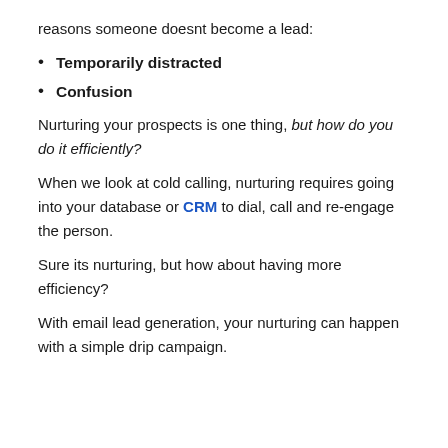reasons someone doesnt become a lead:
Temporarily distracted
Confusion
Nurturing your prospects is one thing, but how do you do it efficiently?
When we look at cold calling, nurturing requires going into your database or CRM to dial, call and re-engage the person.
Sure its nurturing, but how about having more efficiency?
With email lead generation, your nurturing can happen with a simple drip campaign.